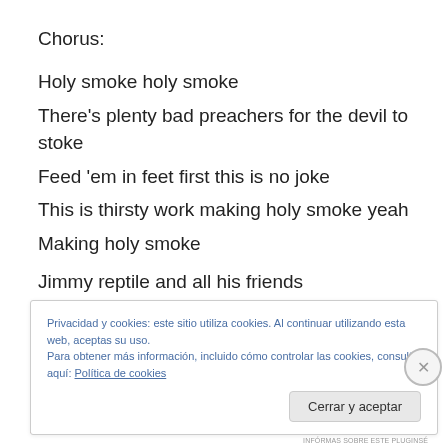Chorus:
Holy smoke holy smoke
There’s plenty bad preachers for the devil to stoke
Feed ’em in feet first this is no joke
This is thirsty work making holy smoke yeah
Making holy smoke
Jimmy reptile and all his friends
Privacidad y cookies: este sitio utiliza cookies. Al continuar utilizando esta web, aceptas su uso.
Para obtener más información, incluido cómo controlar las cookies, consulta aquí: Política de cookies
Cerrar y aceptar